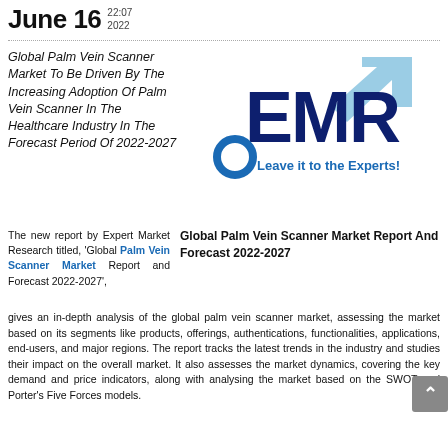June 16  22:07 2022
Global Palm Vein Scanner Market To Be Driven By The Increasing Adoption Of Palm Vein Scanner In The Healthcare Industry In The Forecast Period Of 2022-2027
[Figure (logo): EMR logo: large bold letters 'EMR' in dark navy blue, with a light blue upward arrow in the top-right, a blue circle on the left, and the tagline 'Leave it to the Experts!' in blue text.]
Global Palm Vein Scanner Market Report And Forecast 2022-2027
The new report by Expert Market Research titled, 'Global Palm Vein Scanner Market Report and Forecast 2022-2027', gives an in-depth analysis of the global palm vein scanner market, assessing the market based on its segments like products, offerings, authentications, functionalities, applications, end-users, and major regions. The report tracks the latest trends in the industry and studies their impact on the overall market. It also assesses the market dynamics, covering the key demand and price indicators, along with analysing the market based on the SWOT and Porter's Five Forces models.